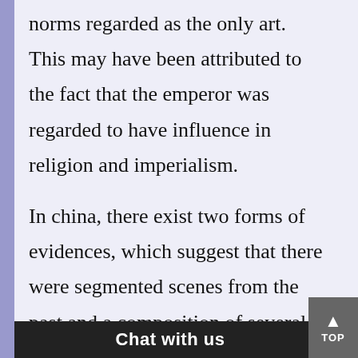norms regarded as the only art. This may have been attributed to the fact that the emperor was regarded to have influence in religion and imperialism.
In china, there exist two forms of evidences, which suggest that there were segmented scenes from the past and a composition of several scenes from the past. This evidence is a kind of visual evidences, which survived time and... ords from a...